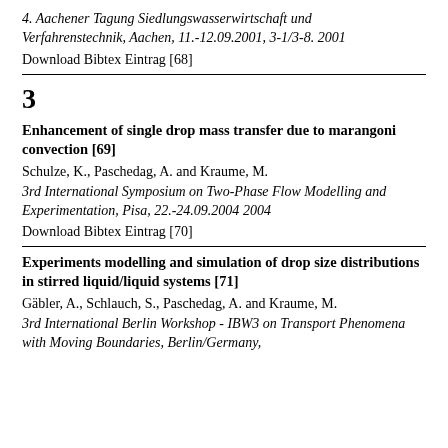4. Aachener Tagung Siedlungswasserwirtschaft und Verfahrenstechnik, Aachen, 11.-12.09.2001, 3-1/3-8. 2001
Download Bibtex Eintrag [68]
3
Enhancement of single drop mass transfer due to marangoni convection [69]
Schulze, K., Paschedag, A. and Kraume, M.
3rd International Symposium on Two-Phase Flow Modelling and Experimentation, Pisa, 22.-24.09.2004 2004
Download Bibtex Eintrag [70]
Experiments modelling and simulation of drop size distributions in stirred liquid/liquid systems [71]
Gäbler, A., Schlauch, S., Paschedag, A. and Kraume, M.
3rd International Berlin Workshop - IBW3 on Transport Phenomena with Moving Boundaries, Berlin/Germany,